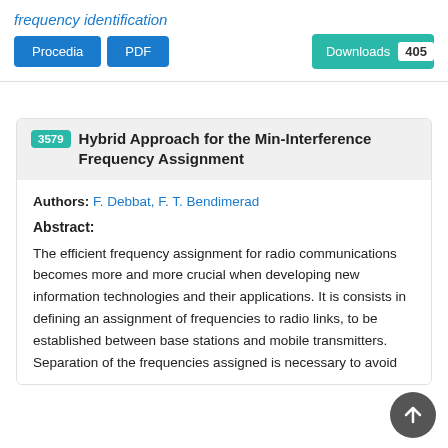frequency identification
Procedia  PDF  Downloads 405
3579 Hybrid Approach for the Min-Interference Frequency Assignment
Authors: F. Debbat, F. T. Bendimerad
Abstract:
The efficient frequency assignment for radio communications becomes more and more crucial when developing new information technologies and their applications. It is consists in defining an assignment of frequencies to radio links, to be established between base stations and mobile transmitters. Separation of the frequencies assigned is necessary to avoid